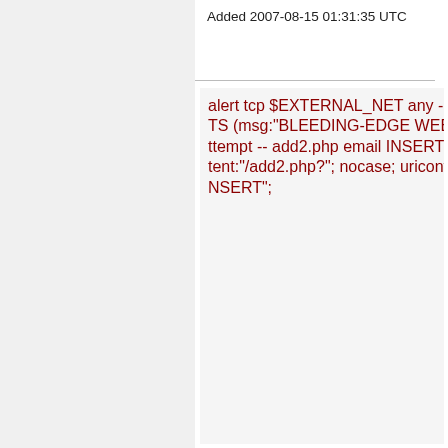Added 2007-08-15 01:31:35 UTC
alert tcp $EXTERNAL_NET any -> $HTTP_SERVERS $HTTP_PORTS (msg:"BLEEDING-EDGE WEB Savas Guestbook SQL Injection Attempt -- add2.php email INSERT"; flow:established,to_server; uricontent:"/add2.php?"; nocase; uricontent:"email="; nocase; uricontent:"INSERT";